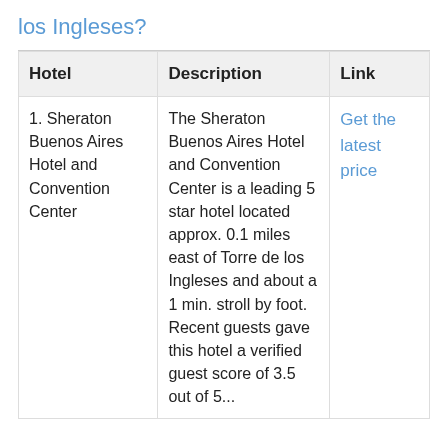los Ingleses?
| Hotel | Description | Link |
| --- | --- | --- |
| 1. Sheraton Buenos Aires Hotel and Convention Center | The Sheraton Buenos Aires Hotel and Convention Center is a leading 5 star hotel located approx. 0.1 miles east of Torre de los Ingleses and about a 1 min. stroll by foot. Recent guests gave this hotel a verified guest score of 3.5 out of 5... | Get the latest price |